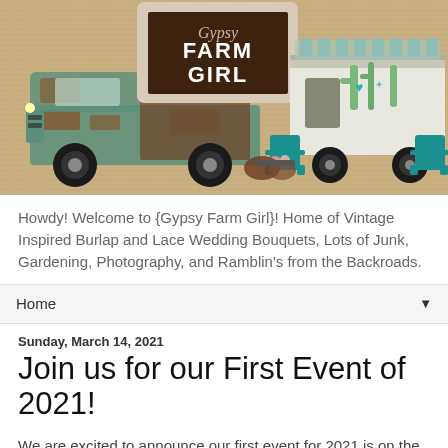[Figure (illustration): Gypsy Farm Girl banner image showing a vintage rusty truck with flowers, a retro camper with cactus decorations and teal chairs, all on a burlap background. A framed sign reads 'Gypsy Farm Girl'.]
Howdy! Welcome to {Gypsy Farm Girl}! Home of Vintage Inspired Burlap and Lace Wedding Bouquets, Lots of Junk, Gardening, Photography, and Ramblin's from the Backroads.
Home ▼
Sunday, March 14, 2021
Join us for our First Event of 2021!
We are excited to announce our first event for 2021 is on the calendar! After a long winter, we are ready to get back